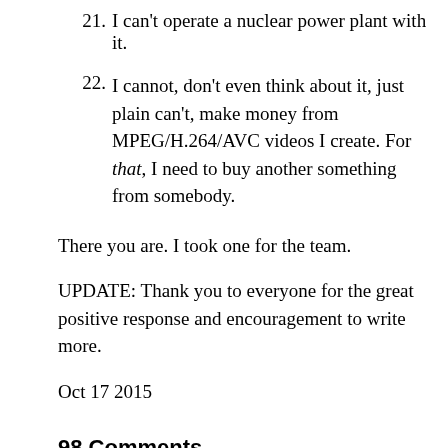21. I can't operate a nuclear power plant with it.
22. I cannot, don't even think about it, just plain can't, make money from MPEG/H.264/AVC videos I create. For that, I need to buy another something from somebody.
There you are. I took one for the team.
UPDATE: Thank you to everyone for the great positive response and encouragement to write more.
Oct 17 2015
98 Comments
Pascal Bourguignon